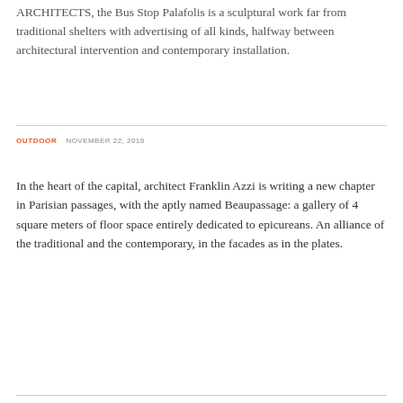ARCHITECTS, the Bus Stop Palafolis is a sculptural work far from traditional shelters with advertising of all kinds, halfway between architectural intervention and contemporary installation.
OUTDOOR   NOVEMBER 22, 2018
In the heart of the capital, architect Franklin Azzi is writing a new chapter in Parisian passages, with the aptly named Beaupassage: a gallery of 4 square meters of floor space entirely dedicated to epicureans. An alliance of the traditional and the contemporary, in the facades as in the plates.